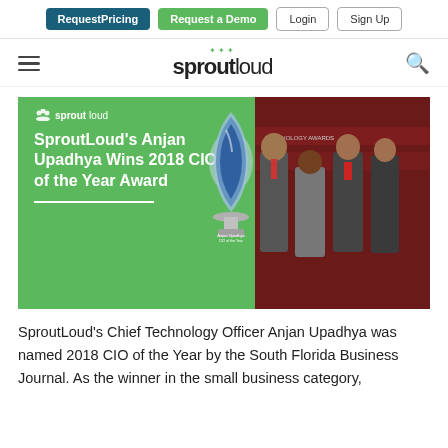RequestPricing | Request a Demo | Login | Sign Up
sproutloud
[Figure (photo): SproutLoud hero banner with green background, company logo, headline 'SproutLoud's Anjan Upadhya Wins 2018 CIO of the Year Award', a blue trophy graphic, and a photo of four men in business attire at an awards ceremony with red backdrop.]
SproutLoud's Chief Technology Officer Anjan Upadhya was named 2018 CIO of the Year by the South Florida Business Journal. As the winner in the small business category,